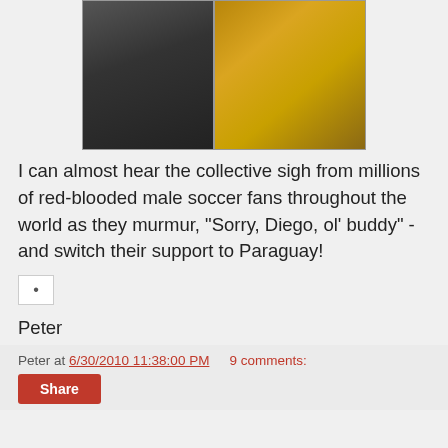[Figure (photo): Two side-by-side photos: left shows a man in a dark suit walking, right shows a woman in a gold bikini posing]
I can almost hear the collective sigh from millions of red-blooded male soccer fans throughout the world as they murmur, "Sorry, Diego, ol' buddy" - and switch their support to Paraguay!
• (dot/bullet icon)
Peter
Peter at 6/30/2010 11:38:00 PM   9 comments:
Share